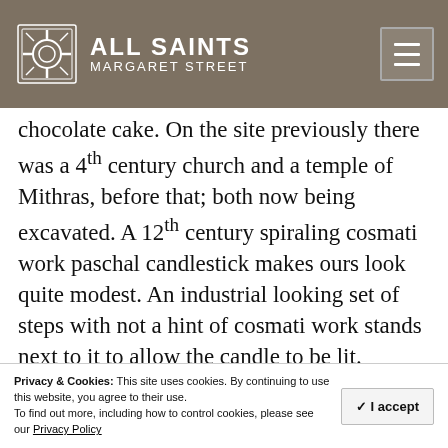ALL SAINTS MARGARET STREET
chocolate cake. On the site previously there was a 4th century church and a temple of Mithras, before that; both now being excavated. A 12th century spiraling cosmati work paschal candlestick makes ours look quite modest. An industrial looking set of steps with not a hint of cosmati work stands next to it to allow the candle to be lit.
St. John Lateran and the Lateran Palace
Privacy & Cookies: This site uses cookies. By continuing to use this website, you agree to their use. To find out more, including how to control cookies, please see our Privacy Policy